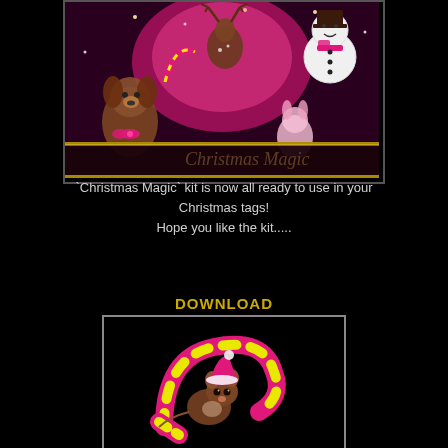[Figure (illustration): Christmas Magic scrapbook kit preview image showing cartoon Christmas characters including a reindeer, dog, snowman, and other festive animals on a pink and black background with the text 'Christmas Magic']
`Christmas Magic` kit is now all ready to use in your Christmas tags!
Hope you like the kit.....
DOWNLOAD
[Figure (illustration): Cute cartoon mouse wearing a pink Santa hat, curled around a pink and yellow candy cane on a black background]